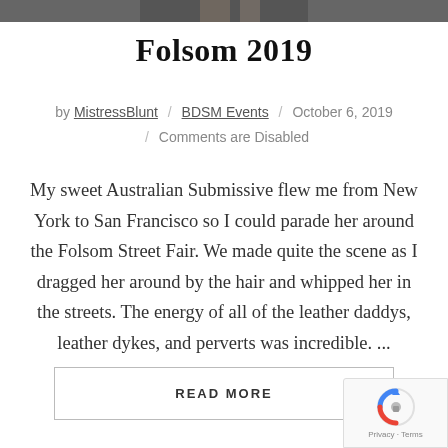[Figure (photo): Partial photo at top of page, dark/grey toned image cropped to a thin strip]
Folsom 2019
by MistressBlunt / BDSM Events / October 6, 2019 / Comments are Disabled
My sweet Australian Submissive flew me from New York to San Francisco so I could parade her around the Folsom Street Fair. We made quite the scene as I dragged her around by the hair and whipped her in the streets. The energy of all of the leather daddys, leather dykes, and perverts was incredible. ...
READ MORE